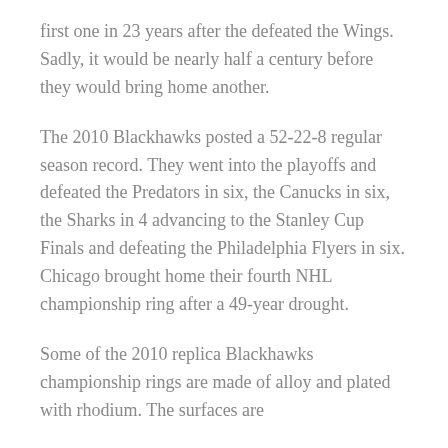first one in 23 years after the defeated the Wings. Sadly, it would be nearly half a century before they would bring home another.
The 2010 Blackhawks posted a 52-22-8 regular season record. They went into the playoffs and defeated the Predators in six, the Canucks in six, the Sharks in 4 advancing to the Stanley Cup Finals and defeating the Philadelphia Flyers in six. Chicago brought home their fourth NHL championship ring after a 49-year drought.
Some of the 2010 replica Blackhawks championship rings are made of alloy and plated with rhodium. The surfaces are